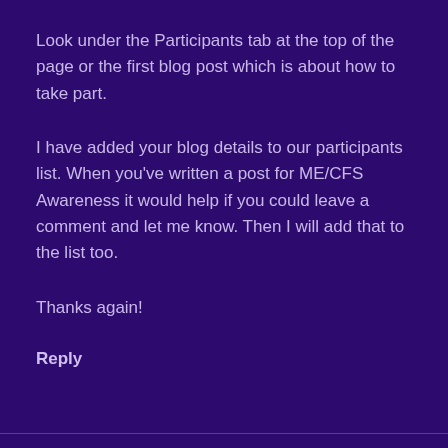Look under the Participants tab at the top of the page or the first blog post which is about how to take part.
I have added your blog details to our participants list. When you've written a post for ME/CFS Awareness it would help if you could leave a comment and let me know. Then I will add that to the list too.
Thanks again!
Reply